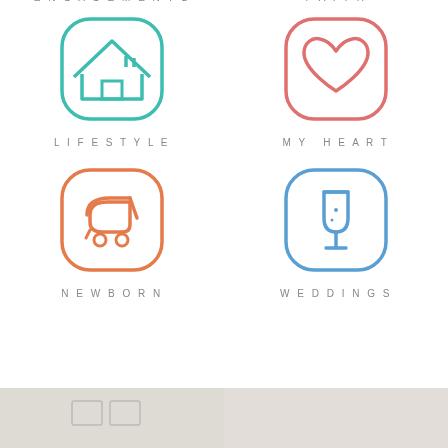[Figure (illustration): Teal rounded-square icon with house/home symbol, labeled ENGAGEMENTS at top (partially cut)]
[Figure (illustration): Salmon/coral rounded-square icon with heart symbol, labeled FAITH at top (partially cut)]
[Figure (illustration): Teal rounded-square icon with house symbol, labeled LIFESTYLE]
[Figure (illustration): Salmon/coral rounded-square icon with heart symbol, labeled MY HEART]
[Figure (illustration): Orange rounded-square icon with baby stroller symbol, labeled NEWBORN]
[Figure (illustration): Blue rounded-square icon with champagne glass symbol, labeled WEDDINGS]
[Figure (illustration): Two partial photo thumbnails at the bottom of the page]